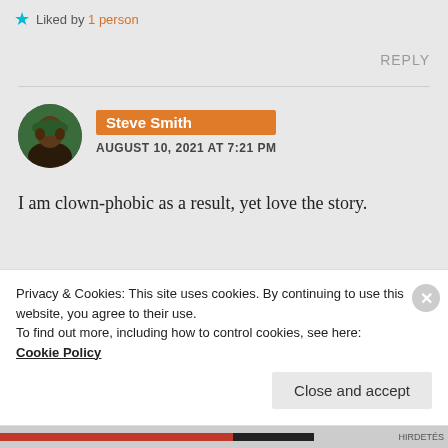Liked by 1 person
REPLY
Steve Smith
AUGUST 10, 2021 AT 7:21 PM
I am clown-phobic as a result, yet love the story.
Privacy & Cookies: This site uses cookies. By continuing to use this website, you agree to their use.
To find out more, including how to control cookies, see here: Cookie Policy
Close and accept